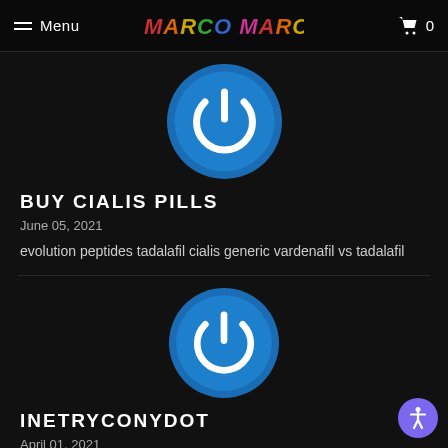Menu — MARCO MARCO — Cart 0
[Figure (logo): Blue circle power button icon for blog post thumbnail]
BUY CIALIS PILLS
June 05, 2021
evolution peptides tadalafil cialis generic vardenafil vs tadalafil
[Figure (logo): Blue circle power button icon for second blog post thumbnail]
INETRYCONYDOT
April 01, 2021